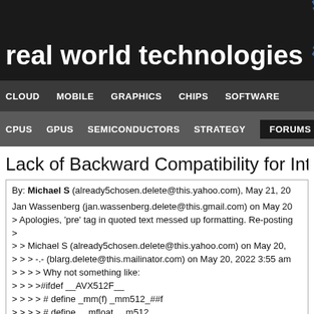real world technologies
CLOUD  MOBILE  GRAPHICS  CHIPS  SOFTWARE
CPUS  GPUS  SEMICONDUCTORS  STRATEGY  FORUMS
Lack of Backward Compatibility for Intel A
By: Michael S (already5chosen.delete@this.yahoo.com), May 21, 20

Jan Wassenberg (jan.wassenberg.delete@this.gmail.com) on May 20
> Apologies, 'pre' tag in quoted text messed up formatting. Re-posting
>
> > Michael S (already5chosen.delete@this.yahoo.com) on May 20,
> > > -.- (blarg.delete@this.mailinator.com) on May 20, 2022 3:55 am
> > > > Why not something like:
> > > >#ifdef __AVX512F__
> > > > # define _mm(f) _mm512_##f
> > > > # define __mfloat __m512
> > > > # include "your-code-file.c"
> Oh interesting, that would work in C as well. We do something simi
> the user code) but rely on C++ function overloading. More informati
· interested: https://github.com/google/highway/blob/master/g2dc/